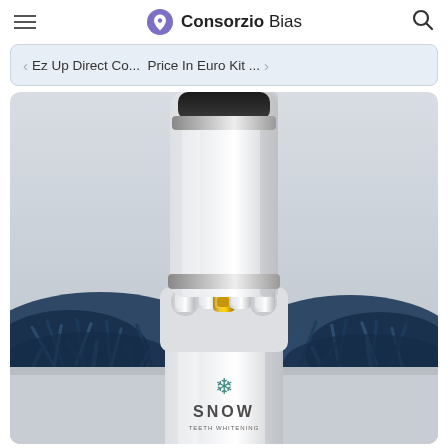Consorzio Bias
Ez Up Direct Co...  Price In Euro Kit ...
[Figure (photo): SNOW teeth whitening kit product photo showing white cylindrical device with multiple whitening wand applicators labeled SNOW, one gold applicator in center, with blue shredded paper in background and SNOW Teeth Whitening logo at bottom.]